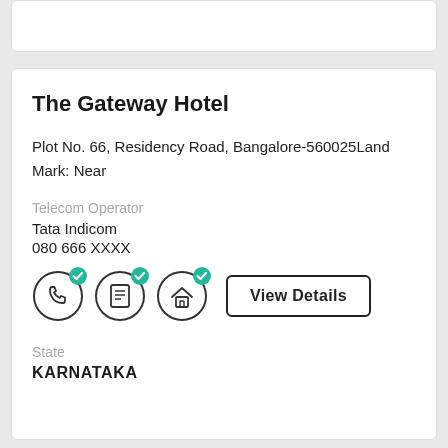The Gateway Hotel
Plot No. 66, Residency Road, Bangalore-560025Land Mark: Near
Telecom Operator
Tata Indicom
080 666 XXXX
[Figure (infographic): Three circular icons with green checkmark badges (phone, list/document, house) and a View Details button]
State
KARNATAKA